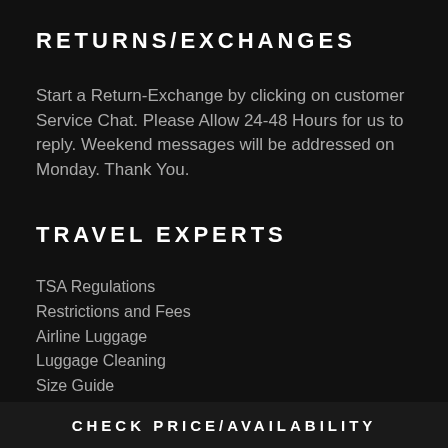RETURNS/EXCHANGES
Start a Return-Exchange by clicking on customer Service Chat. Please Allow 24-48 Hours for us to reply. Weekend messages will be addressed on Monday. Thank You.
TRAVEL EXPERTS
TSA Regulations
Restrictions and Fees
Airline Luggage
Luggage Cleaning
Size Guide
Weight Restrictions
CHECK PRICE/AVAILABILITY